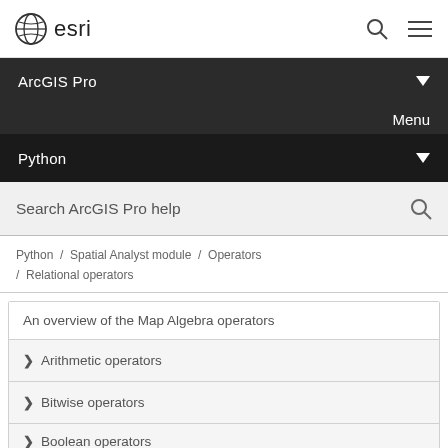esri
ArcGIS Pro
Menu
Python
Search ArcGIS Pro help
Python / Spatial Analyst module / Operators / Relational operators
An overview of the Map Algebra operators
Arithmetic operators
Bitwise operators
Boolean operators